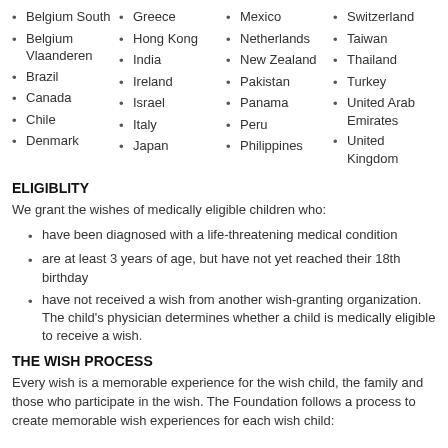Belgium South
Belgium Vlaanderen
Brazil
Canada
Chile
Denmark
Greece
Hong Kong
India
Ireland
Israel
Italy
Japan
Mexico
Netherlands
New Zealand
Pakistan
Panama
Peru
Philippines
Switzerland
Taiwan
Thailand
Turkey
United Arab Emirates
United Kingdom
ELIGIBLITY
We grant the wishes of medically eligible children who:
have been diagnosed with a life-threatening medical condition
are at least 3 years of age, but have not yet reached their 18th birthday
have not received a wish from another wish-granting organization. The child's physician determines whether a child is medically eligible to receive a wish.
THE WISH PROCESS
Every wish is a memorable experience for the wish child, the family and those who participate in the wish. The Foundation follows a process to create memorable wish experiences for each wish child: